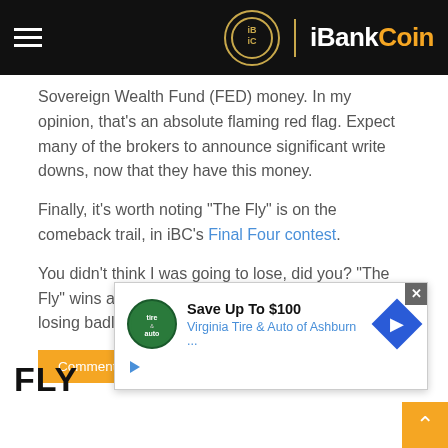iBankCoin
Sovereign Wealth Fund (FED) money. In my opinion, that’s an absolute flaming red flag. Expect many of the brokers to announce significant write downs, now that they have this money.
Finally, it’s worth noting “The Fly” is on the comeback trail, in iBC’s Final Four contest.
You didn’t think I was going to lose, did you? “The Fly” wins all the time, even when he appears to be losing badly.
Comments »
FLY
[Figure (screenshot): Advertisement overlay: Save Up To $100, Virginia Tire & Auto of Ashburn ...]